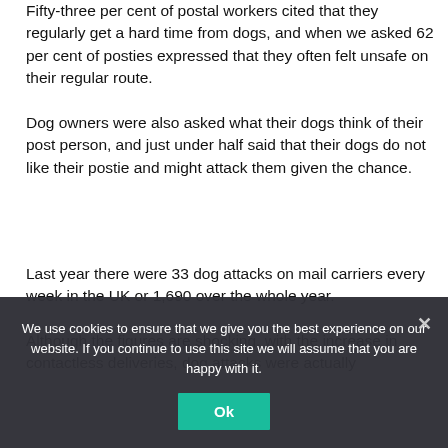Fifty-three per cent of postal workers cited that they regularly get a hard time from dogs, and when we asked 62 per cent of posties expressed that they often felt unsafe on their regular route.
Dog owners were also asked what their dogs think of their post person, and just under half said that their dogs do not like their postie and might attack them given the chance.
Last year there were 33 dog attacks on mail carriers every week in the UK or 1,690 over the whole year.
Although the figures are shocking, with the increase in contactless deliveries, dog attacks were actually
We use cookies to ensure that we give you the best experience on our website. If you continue to use this site we will assume that you are happy with it.
Ok